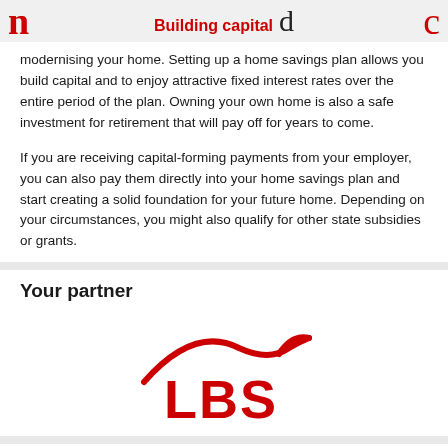n   Building capital d   c
modernising your home. Setting up a home savings plan allows you build capital and to enjoy attractive fixed interest rates over the entire period of the plan. Owning your own home is also a safe investment for retirement that will pay off for years to come.

If you are receiving capital-forming payments from your employer, you can also pay them directly into your home savings plan and start creating a solid foundation for your future home. Depending on your circumstances, you might also qualify for other state subsidies or grants.
Your partner
[Figure (logo): LBS logo — red arc/checkmark above bold red LBS text]
Capital forming payments